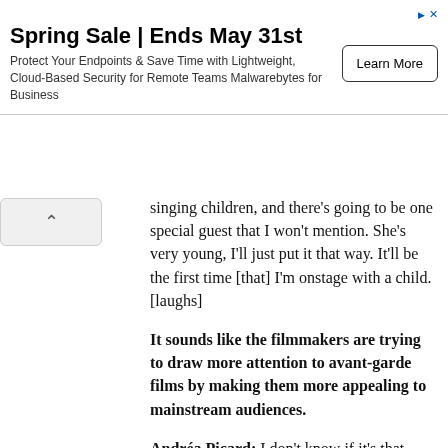[Figure (other): Advertisement banner: Spring Sale | Ends May 31st - Protect Your Endpoints & Save Time with Lightweight, Cloud-Based Security for Remote Teams Malwarebytes for Business. Learn More button.]
singing children, and there's going to be one special guest that I won't mention. She's very young, I'll just put it that way. It'll be the first time [that] I'm onstage with a child. [laughs]
It sounds like the filmmakers are trying to draw more attention to avant-garde films by making them more appealing to mainstream audiences.
Andréa Picard: I don't know if it's that. Maybe it could be the inverse, actually, so you're seeing auteurs using more